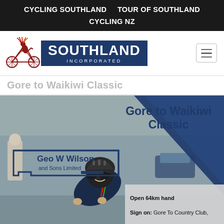CYCLING SOUTHLAND    TOUR OF SOUTHLAND    CYCLING NZ
[Figure (logo): Cycling Southland Incorporated logo with cyclist icon and SOUTHLAND INCORPORATED text in blue box]
Gore to Waikiwi Classic
[Figure (photo): Cycling event photo showing a cyclist in dark kit and helmet, with Geo W Wilson and Sons Limited sponsor banner visible]
Gore to Waikiwi Classic
Open 64km hand
Sign on: Gore To Country Club,
Start: 1:30pm
Entry fee: $2
Prize money: $2 first overall, pa down to 6th pl
Further prizes for